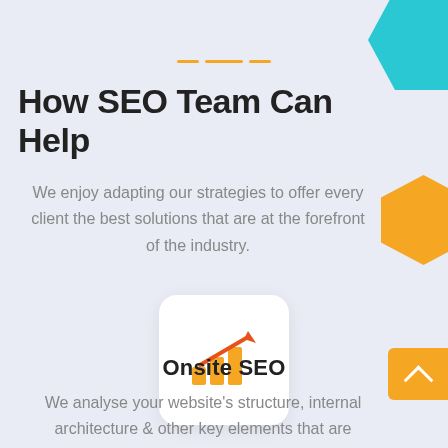[Figure (illustration): Teal geometric shape in top-right corner]
[Figure (illustration): Orange hexagon shape on right side]
[Figure (illustration): Three orange dashes decorative separator]
How SEO Team Can Help
We enjoy adapting our strategies to offer every client the best solutions that are at the forefront of the industry.
[Figure (illustration): Bar chart with upward arrow icon (orange) inside white rounded card — represents analytics/growth]
Onsite SEO
We analyse your website's structure, internal architecture & other key elements that are
[Figure (illustration): Orange scroll-to-top button with white chevron arrow, bottom right]